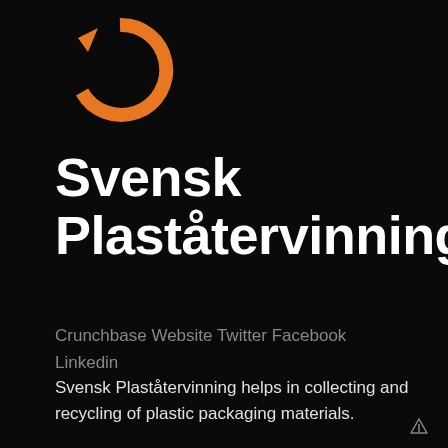[Figure (logo): Orange circular recycling arrow logo on black background]
Svensk Plaståtervinning
Crunchbase Website Twitter Facebook Linkedin
Svensk Plaståtervinning helps in collecting and recycling of plastic packaging materials.